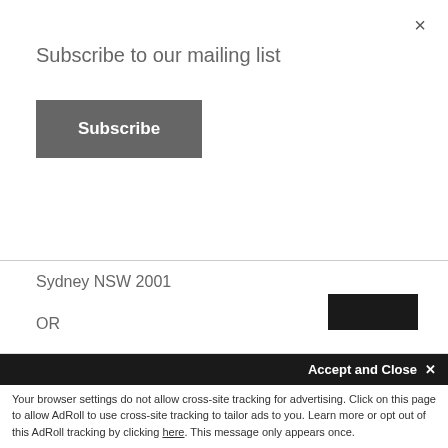Subscribe to our mailing list
Subscribe
Sydney NSW 2001
OR
Office of the Australian Information Commissioner
GPO Box 2999
Canberra ACT 2601 NSW 2001
12.2.2 Aged Care Complaints Scheme
When appropriate, the Aged Care Complaints Scheme may also be utilised for
Accept and Close ×
Your browser settings do not allow cross-site tracking for advertising. Click on this page to allow AdRoll to use cross-site tracking to tailor ads to you. Learn more or opt out of this AdRoll tracking by clicking here. This message only appears once.